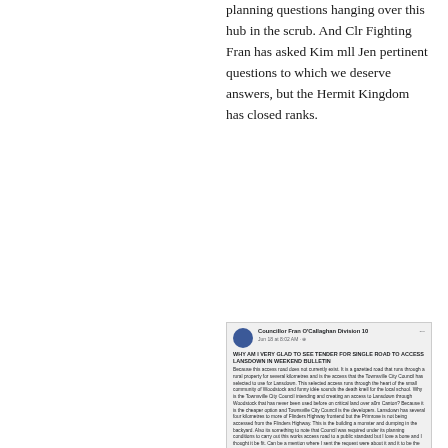planning questions hanging over this hub in the scrub. And Clr Fighting Fran has asked Kim mll Jen pertinent questions to which we deserve answers, but the Hermit Kingdom has closed ranks.
[Figure (screenshot): Screenshot of a Facebook post by Councillor Fran O'Callaghan Division 10, with comments from Jon Ashley and Honourable Magpie about council questions regarding a road to access Lansdown.]
Reply
GST SHAM - June 22, 2022 at 9:00 am